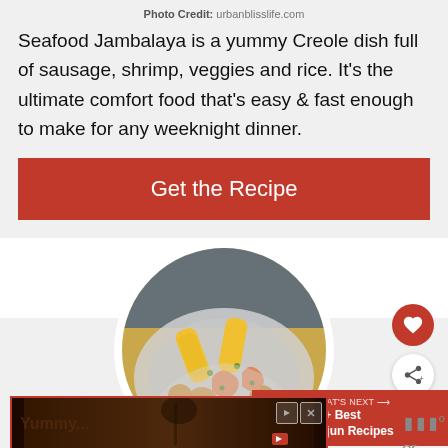Photo Credit: urbanblisslife.com
Seafood Jambalaya is a yummy Creole dish full of sausage, shrimp, veggies and rice. It's the ultimate comfort food that's easy & fast enough to make for any weeknight dinner.
Get the Recipe
[Figure (photo): Circular food photo showing seafood boil with corn, shrimp, and potatoes in foil]
[Figure (photo): Small thumbnail of Cajun recipes dish next to 'WHAT'S NEXT: 30+ Best Cajun Recipes' banner]
[Figure (screenshot): Video advertisement banner at the bottom of the page]